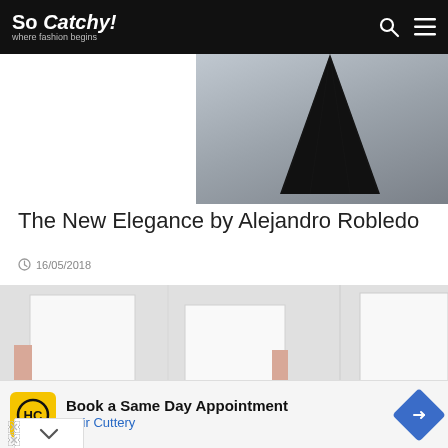So Catchy! where fashion begins
[Figure (photo): Partial view of a black cone-shaped dress or garment against grey background]
The New Elegance by Alejandro Robledo
16/05/2018
[Figure (photo): Fashion editorial showing three figures wearing boxy white geometric garments/dresses with red and yellow accents, on white background]
Book a Same Day Appointment Hair Cuttery